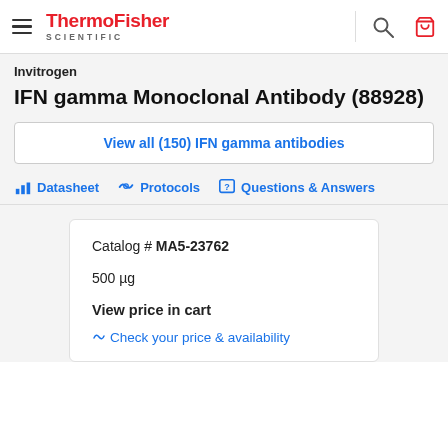ThermoFisher SCIENTIFIC
Invitrogen
IFN gamma Monoclonal Antibody (88928)
View all (150) IFN gamma antibodies
Datasheet   Protocols   Questions & Answers
| Field | Value |
| --- | --- |
| Catalog # | MA5-23762 |
| Quantity | 500 µg |
| Price | View price in cart |
| Availability | Check your price & availability |